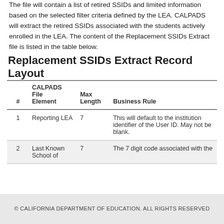The file will contain a list of retired SSIDs and limited information based on the selected filter criteria defined by the LEA. CALPADS will extract the retired SSIDs associated with the students actively enrolled in the LEA. The content of the Replacement SSIDs Extract file is listed in the table below.
Replacement SSIDs Extract Record Layout
| # | CALPADS File Element | Max Length | Business Rule |
| --- | --- | --- | --- |
| 1 | Reporting LEA | 7 | This will default to the institution identifier of the User ID. May not be blank. |
| 2 | Last Known School of | 7 | The 7 digit code associated with the |
© CALIFORNIA DEPARTMENT OF EDUCATION. ALL RIGHTS RESERVED